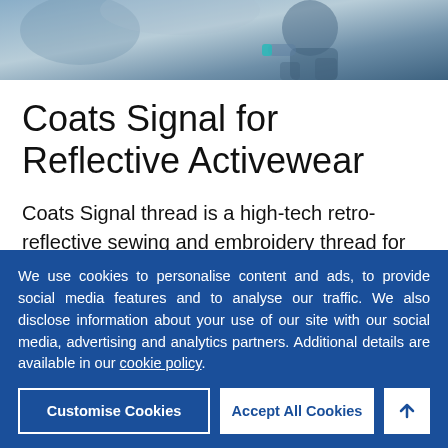[Figure (photo): Hero image of a person jogging/running, wearing dark activewear, partial view from chest down, blurred background]
Coats Signal for Reflective Activewear
Coats Signal thread is a high-tech retro-reflective sewing and embroidery thread for fashion applications in apparel sewing.
We use cookies to personalise content and ads, to provide social media features and to analyse our traffic. We also disclose information about your use of our site with our social media, advertising and analytics partners. Additional details are available in our cookie policy.
Customise Cookies
Accept All Cookies